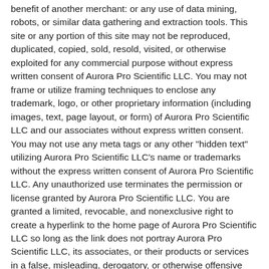benefit of another merchant: or any use of data mining, robots, or similar data gathering and extraction tools. This site or any portion of this site may not be reproduced, duplicated, copied, sold, resold, visited, or otherwise exploited for any commercial purpose without express written consent of Aurora Pro Scientific LLC. You may not frame or utilize framing techniques to enclose any trademark, logo, or other proprietary information (including images, text, page layout, or form) of Aurora Pro Scientific LLC and our associates without express written consent. You may not use any meta tags or any other "hidden text" utilizing Aurora Pro Scientific LLC's name or trademarks without the express written consent of Aurora Pro Scientific LLC. Any unauthorized use terminates the permission or license granted by Aurora Pro Scientific LLC. You are granted a limited, revocable, and nonexclusive right to create a hyperlink to the home page of Aurora Pro Scientific LLC so long as the link does not portray Aurora Pro Scientific LLC, its associates, or their products or services in a false, misleading, derogatory, or otherwise offensive matter. You may not use any Aurora Pro Scientific LLC's logo or other proprietary graphic or trademark as part of the link without express written permission.
YOUR MEMBERSHIP ACCOUNT
If you use this site, you are responsible for maintaining the confidentiality of your account and password and for restricting access to your...